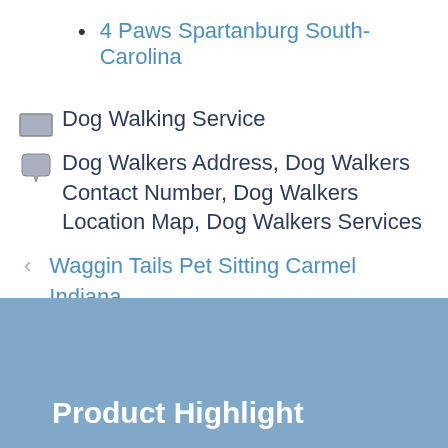4 Paws Spartanburg South-Carolina
Dog Walking Service
Dog Walkers Address, Dog Walkers Contact Number, Dog Walkers Location Map, Dog Walkers Services
< Waggin Tails Pet Sitting Carmel Indiana
> All About Dogs! Pet Sitting Services West-Palm-Beach Florida
Product Highlight